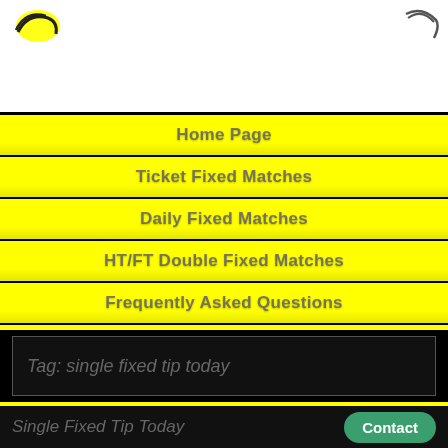[Figure (screenshot): Mobile app/website header banner with logo on left (yellow circular icon) and partial icon on right, white background]
Home Page
Ticket Fixed Matches
Daily Fixed Matches
HT/FT Double Fixed Matches
Frequently Asked Questions
Contact Center
Tag: single fixed tip today
Single Fixed Tip Today
Contact